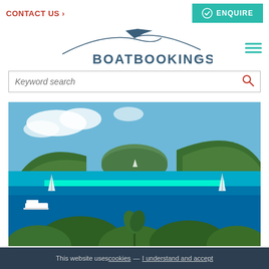CONTACT US >
ENQUIRE
[Figure (logo): BoatBookings logo with boat silhouette and arc lines above text]
[Figure (other): Hamburger menu icon with three horizontal teal lines]
Keyword search
[Figure (photo): Scenic tropical bay with turquoise blue water, green hillsides, sailboats, and blue sky]
This website uses cookies — I understand and accept